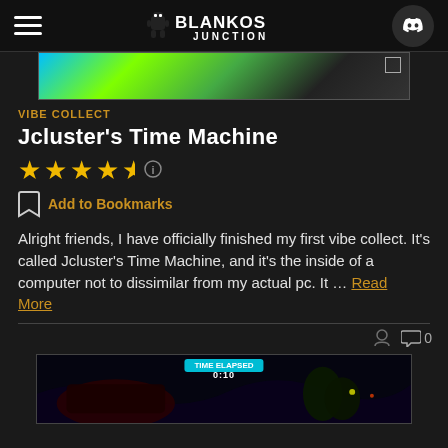BLANKOS JUNCTION
[Figure (screenshot): Game screenshot banner at top of article showing colorful game environment]
VIBE COLLECT
Jcluster's Time Machine
[Figure (infographic): 5-star rating with approximately 4.5 stars filled in gold]
Add to Bookmarks
Alright friends, I have officially finished my first vibe collect. It's called Jcluster's Time Machine, and it's the inside of a computer not to dissimilar from my actual pc. It ... Read More
[Figure (screenshot): Game screenshot at bottom showing dark game scene with timer overlay reading 0:10]